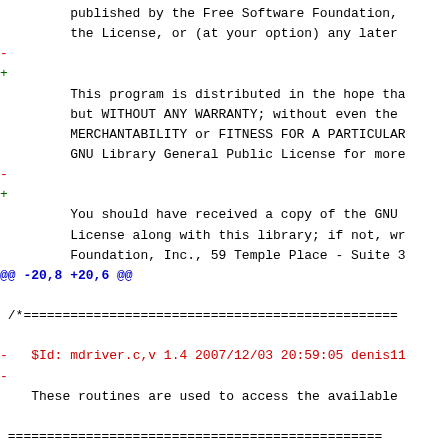Diff/patch code showing modifications to a C source file (mdriver.c), including license text changes, hunk headers, and preprocessor directive changes.